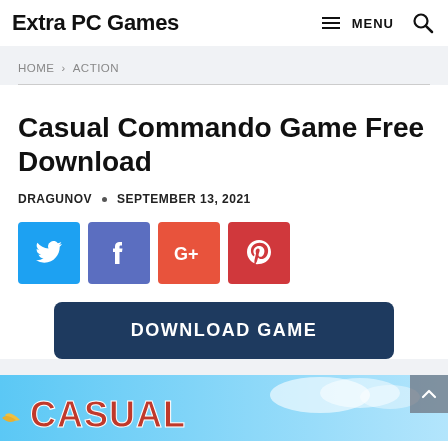Extra PC Games  ≡ MENU 🔍
HOME > ACTION
Casual Commando Game Free Download
DRAGUNOV · SEPTEMBER 13, 2021
[Figure (infographic): Social share buttons: Twitter (blue), Facebook (indigo), Google+ (orange-red), Pinterest (red)]
[Figure (infographic): Dark blue DOWNLOAD GAME button]
[Figure (screenshot): Partial game banner showing 'CASUAL' text with colorful game artwork on blue sky background]